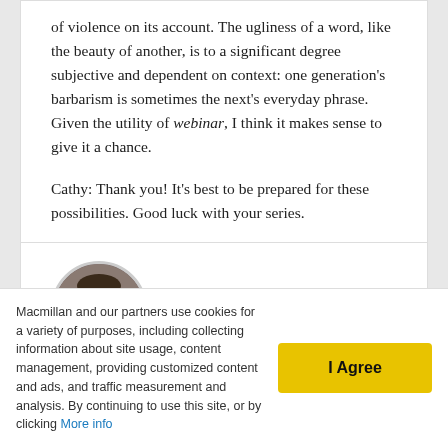of violence on its account. The ugliness of a word, like the beauty of another, is to a significant degree subjective and dependent on context: one generation's barbarism is sometimes the next's everyday phrase. Given the utility of webinar, I think it makes sense to give it a chance.
Cathy: Thank you! It's best to be prepared for these possibilities. Good luck with your series.
Joe McVeigh
October 25, 2011 at 12:05 pm
[Figure (photo): Circular avatar photo of Joe McVeigh, a man wearing sunglasses, smiling]
I'm going to fess up and tell you that when I won a (sweet) Macmillan dictionary, I should have been
Macmillan and our partners use cookies for a variety of purposes, including collecting information about site usage, content management, providing customized content and ads, and traffic measurement and analysis. By continuing to use this site, or by clicking More info